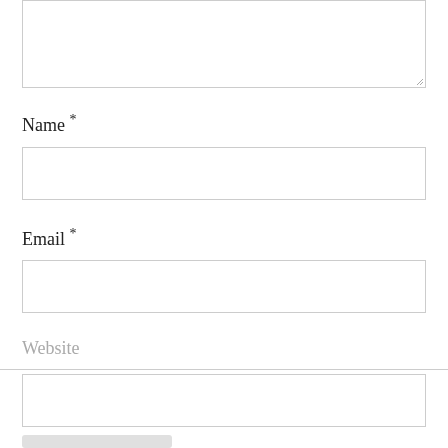[Figure (screenshot): A web form textarea (comment box) with a resize handle in the bottom-right corner, shown partially at the top of the page.]
Name *
[Figure (screenshot): A text input field for Name.]
Email *
[Figure (screenshot): A text input field for Email.]
Website
[Figure (screenshot): A text input field for Website, partially visible below a horizontal divider line.]
[Figure (screenshot): A partially visible submit button at the bottom of the form.]